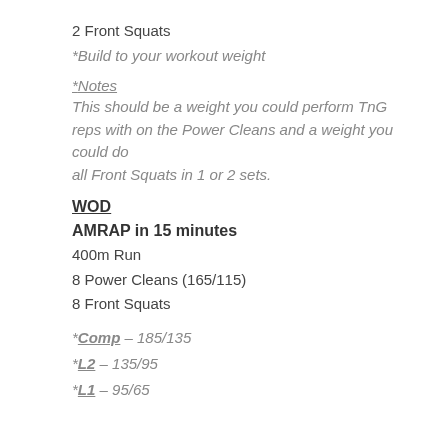2 Front Squats
*Build to your workout weight
*Notes
This should be a weight you could perform TnG reps with on the Power Cleans and a weight you could do all Front Squats in 1 or 2 sets.
WOD
AMRAP in 15 minutes
400m Run
8 Power Cleans (165/115)
8 Front Squats
*Comp – 185/135
*L2 – 135/95
*L1 – 95/65